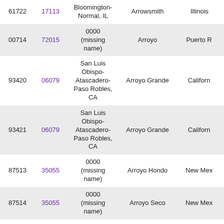| 61722 | 17113 | Bloomington-Normal, IL | Arrowsmith | Illinois |
| 00714 | 72015 | 0000 (missing name) | Arroyo | Puerto Rico |
| 93420 | 06079 | San Luis Obispo-Atascadero-Paso Robles, CA | Arroyo Grande | California |
| 93421 | 06079 | San Luis Obispo-Atascadero-Paso Robles, CA | Arroyo Grande | California |
| 87513 | 35055 | 0000 (missing name) | Arroyo Hondo | New Mexico |
| 87514 | 35055 | 0000 (missing name) | Arroyo Seco | New Mexico |
| 76820 | 48319 | 0000 (missing name) | Art | Texas |